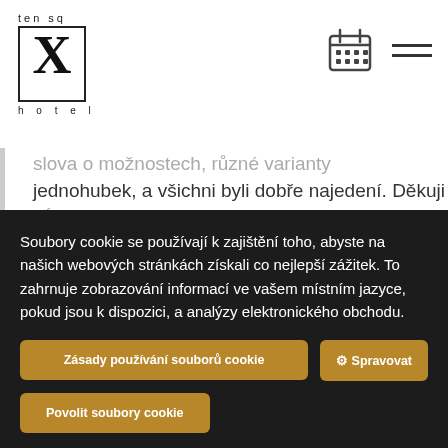[Figure (logo): Ten Square Hotel logo with large X in a box, 'ten sq' above and 'hotel' below]
jednohubek, a všichni byli dobře najedení. Děkuji
Soubory cookie se používají k zajištění toho, abyste na našich webových stránkách získali co nejlepší zážitek. To zahrnuje zobrazování informací ve vašem místním jazyce, pokud jsou k dispozici, a analýzy elektronického obchodu.
Zásady používání souborů cookie
⚙ Spravovat
Povolit soubory cookie